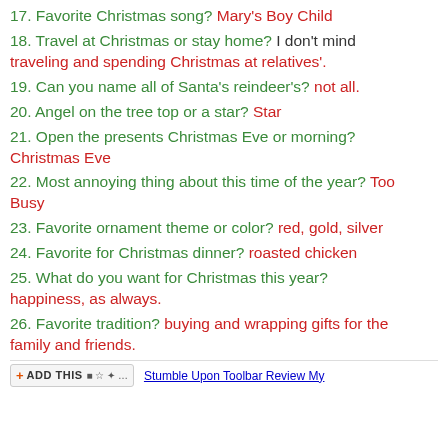17. Favorite Christmas song? Mary's Boy Child
18. Travel at Christmas or stay home? I don't mind traveling and spending Christmas at relatives'.
19. Can you name all of Santa's reindeer's? not all.
20. Angel on the tree top or a star? Star
21. Open the presents Christmas Eve or morning? Christmas Eve
22. Most annoying thing about this time of the year? Too Busy
23. Favorite ornament theme or color? red, gold, silver
24. Favorite for Christmas dinner? roasted chicken
25. What do you want for Christmas this year? happiness, as always.
26. Favorite tradition? buying and wrapping gifts for the family and friends.
ADD THIS  Stumble Upon Toolbar Review My